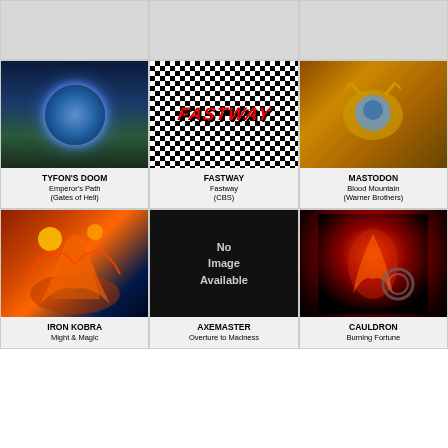[Figure (other): Partial album cover top row, cell 1]
[Figure (other): Partial album cover top row, cell 2]
[Figure (other): Partial album cover top row, cell 3]
[Figure (photo): Tyfon's Doom - Emperor's Path album cover (Gates of Hell)]
TYFON'S DOOM
Emperor's Path
(Gates of Hell)
[Figure (photo): Fastway - Fastway album cover (CBS), checkered black and white pattern with red Fastway logo]
FASTWAY
Fastway
(CBS)
[Figure (photo): Mastodon - Blood Mountain album cover (Warner Brothers)]
MASTODON
Blood Mountain
(Warner Brothers)
[Figure (photo): Iron Kobra - Might & Magic album cover]
IRON KOBRA
Might & Magic
[Figure (other): No Image Available placeholder (black background)]
AXEMASTER
Overture to Madness
[Figure (photo): Cauldron - Burning Fortune album cover]
CAULDRON
Burning Fortune